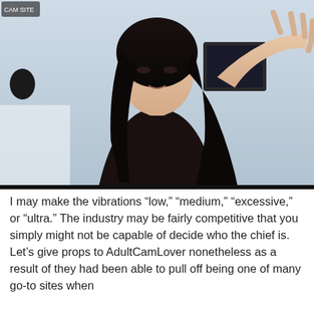[Figure (photo): A young woman with long black hair waving her hand toward the camera, appearing to be on a webcam stream. She is wearing a black top and is in a room with a bed and computer monitor visible in the background.]
I may make the vibrations “low,” “medium,” “excessive,” or “ultra.” The industry may be fairly competitive that you simply might not be capable of decide who the chief is. Let’s give props to AdultCamLover nonetheless as a result of they had been able to pull off being one of many go-to sites when